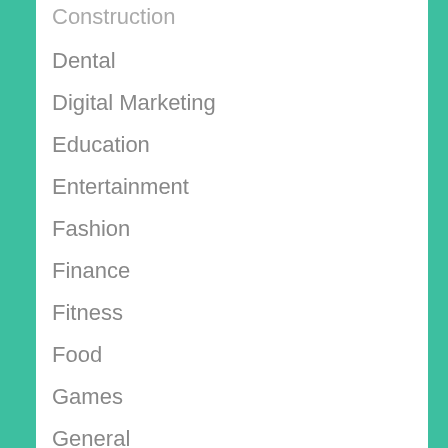Construction
Dental
Digital Marketing
Education
Entertainment
Fashion
Finance
Fitness
Food
Games
General
Health
Home
Home Improvement
Insurance